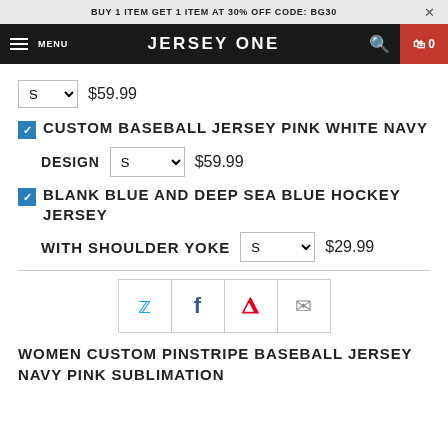BUY 1 ITEM GET 1 ITEM AT 30% OFF CODE: BG30
JERSEY ONE
S  $59.99
CUSTOM BASEBALL JERSEY PINK WHITE NAVY DESIGN  S  $59.99
BLANK BLUE AND DEEP SEA BLUE HOCKEY JERSEY WITH SHOULDER YOKE  S  $29.99
[Figure (other): Social share buttons: Twitter, Facebook, Pinterest, Email]
WOMEN CUSTOM PINSTRIPE BASEBALL JERSEY NAVY PINK SUBLIMATION